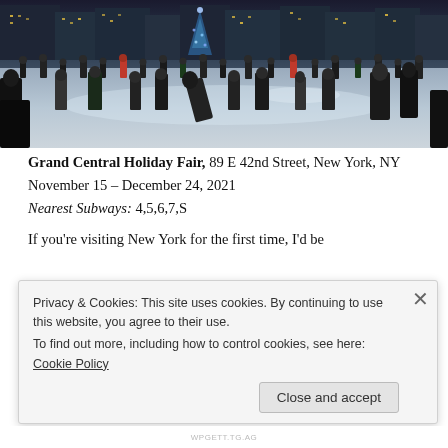[Figure (photo): Wide-angle photograph of an outdoor ice skating rink with many people skating, city buildings in background, lit Christmas tree visible, evening/night setting with bright lights]
Grand Central Holiday Fair, 89 E 42nd Street, New York, NY
November 15 – December 24, 2021
Nearest Subways: 4,5,6,7,S
If you're visiting New York for the first time, I'd be
Privacy & Cookies: This site uses cookies. By continuing to use this website, you agree to their use.
To find out more, including how to control cookies, see here: Cookie Policy
Close and accept